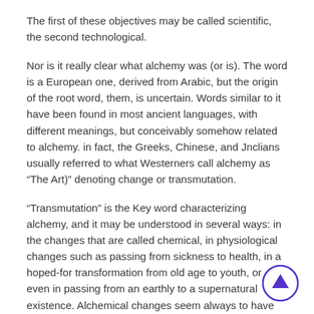The first of these objectives may be called scientific, the second technological.
Nor is it really clear what alchemy was (or is). The word is a European one, derived from Arabic, but the origin of the root word, them, is uncertain. Words similar to it have been found in most ancient languages, with different meanings, but conceivably somehow related to alchemy. in fact, the Greeks, Chinese, and Jnclians usually referred to what Westerners call alchemy as “The Art)” denoting change or transmutation.
“Transmutation” is the Key word characterizing alchemy, and it may be understood in several ways: in the changes that are called chemical, in physiological changes such as passing from sickness to health, in a hoped-for transformation from old age to youth, or even in passing from an earthly to a supernatural existence. Alchemical changes seem always to have been positive, never involving degradation except as an intermediate stage, process having a “happy ending.” Alchemy ained at the